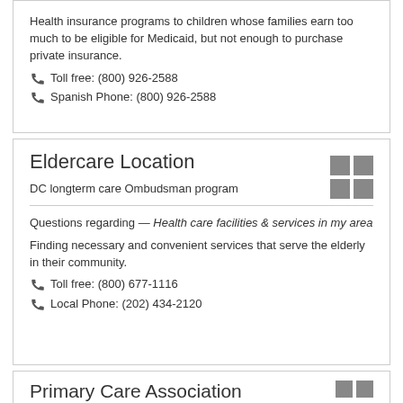Health insurance programs to children whose families earn too much to be eligible for Medicaid, but not enough to purchase private insurance.
Toll free: (800) 926-2588
Spanish Phone: (800) 926-2588
Eldercare Location
DC longterm care Ombudsman program
Questions regarding — Health care facilities & services in my area
Finding necessary and convenient services that serve the elderly in their community.
Toll free: (800) 677-1116
Local Phone: (202) 434-2120
Primary Care Association